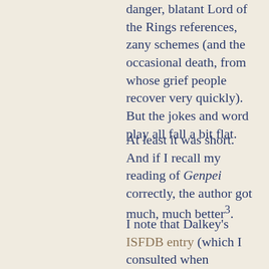danger, blatant Lord of the Rings references, zany schemes (and the occasional death, from whose grief people recover very quickly). But the jokes and word play all fall a bit flat.
At least it was short. And if I recall my reading of Genpei correctly, the author got much, much better³.
I note that Dalkey's ISFDB entry (which I consulted when checking for possible recent editions of Sagamore) is somewhat misleading. It would suggest that Dalkey's most